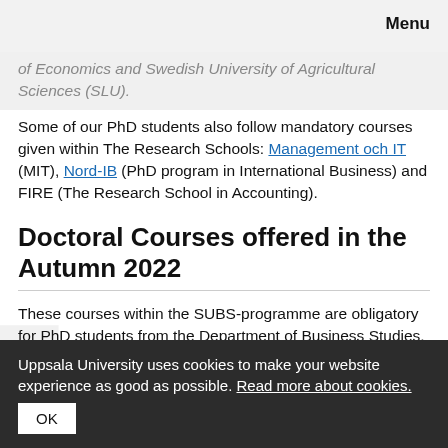Menu
of Economics and Swedish University of Agricultural Sciences (SLU).
Some of our PhD students also follow mandatory courses given within The Research Schools: Management och IT (MIT), Nord-IB (PhD program in International Business) and FIRE (The Research School in Accounting).
Doctoral Courses offered in the Autumn 2022
These courses within the SUBS-programme are obligatory for PhD students from the Department of Business Studies,
Uppsala University uses cookies to make your website experience as good as possible. Read more about cookies. OK